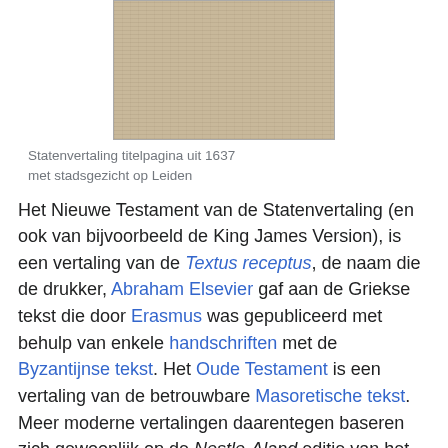[Figure (illustration): Statenvertaling title page engraving from 1637 showing a heraldic crest with a lion and a cityscape of Leiden below]
Statenvertaling titelpagina uit 1637 met stadsgezicht op Leiden
Het Nieuwe Testament van de Statenvertaling (en ook van bijvoorbeeld de King James Version), is een vertaling van de Textus receptus, de naam die de drukker, Abraham Elsevier gaf aan de Griekse tekst die door Erasmus was gepubliceerd met behulp van enkele handschriften met de Byzantijnse tekst. Het Oude Testament is een vertaling van de betrouwbare Masoretische tekst. Meer moderne vertalingen daarentegen baseren zich gewoonlijk op de Nestle-Aland editie van het Grieks Nieuwe Testament, die